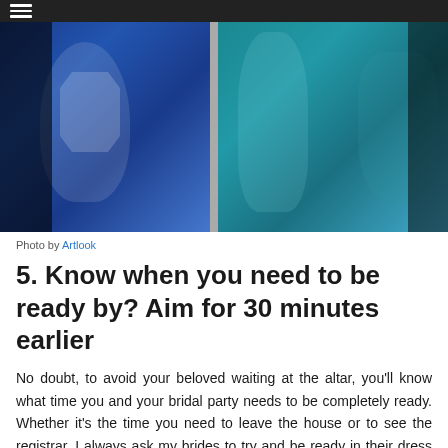[Figure (photo): Wedding photo showing bridal party in blue and teal dresses, partially obscured by dark side panels]
Photo by Artlook
5. Know when you need to be ready by? Aim for 30 minutes earlier
No doubt, to avoid your beloved waiting at the altar, you'll know what time you and your bridal party needs to be completely ready. Whether it's the time you need to leave the house or to see the registrar, I always ask my brides to try and be ready in their dress 30 minutes before time, as it allows a little window for me to shoot the oft-requested bride in her dress. Experience has